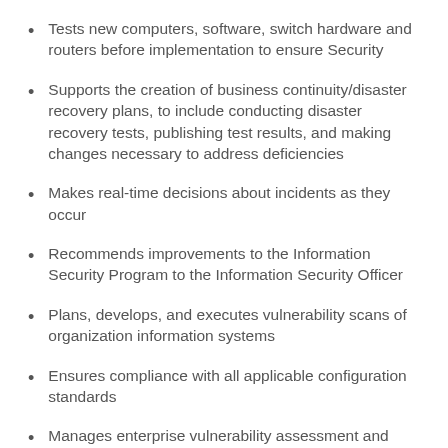Tests new computers, software, switch hardware and routers before implementation to ensure Security
Supports the creation of business continuity/disaster recovery plans, to include conducting disaster recovery tests, publishing test results, and making changes necessary to address deficiencies
Makes real-time decisions about incidents as they occur
Recommends improvements to the Information Security Program to the Information Security Officer
Plans, develops, and executes vulnerability scans of organization information systems
Ensures compliance with all applicable configuration standards
Manages enterprise vulnerability assessment and configuration assessment tools